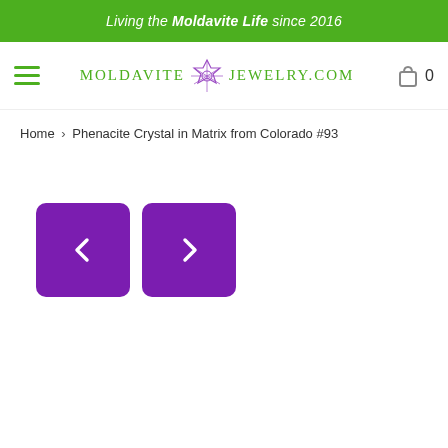Living the Moldavite Life since 2016
[Figure (logo): MoldaviteJewelry.com logo with purple star of David / merkaba gem icon, green text]
Home › Phenacite Crystal in Matrix from Colorado #93
[Figure (screenshot): Two purple square navigation buttons with left and right chevron arrows]